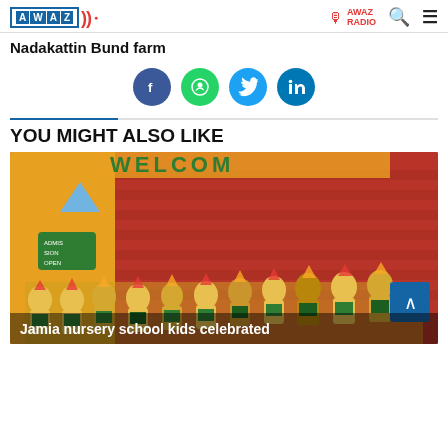AWAZ THE VOICE — AWAZ RADIO
Nadakattin Bund farm
[Figure (infographic): Social media sharing icons: Facebook (blue circle), WhatsApp (green circle), Twitter (cyan circle), LinkedIn (blue circle)]
YOU MIGHT ALSO LIKE
[Figure (photo): School children in yellow and green costumes with decorative hats at a welcome event. Red brick wall background with 'WELCOME' banner. Group photo of nursery school kids.]
Jamia nursery school kids celebrated